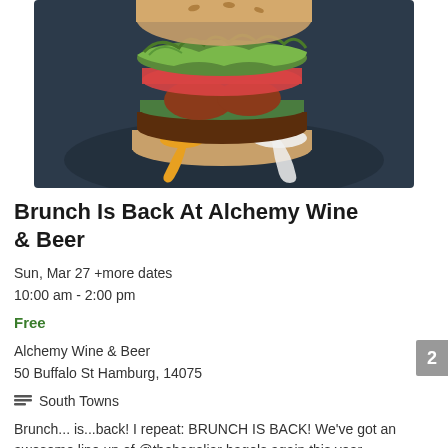[Figure (photo): A large gourmet burger with toppings including lettuce, tomato, cheese sauce dripping, and white sauce on a dark plate background]
Brunch Is Back At Alchemy Wine & Beer
Sun, Mar 27 +more dates
10:00 am - 2:00 pm
Free
Alchemy Wine & Beer
50 Buffalo St Hamburg, 14075
South Towns
Brunch... is...back! I repeat: BRUNCH IS BACK! We've got an awesome line up of @thebageljar bagels again this year anddddd the newest addition in the